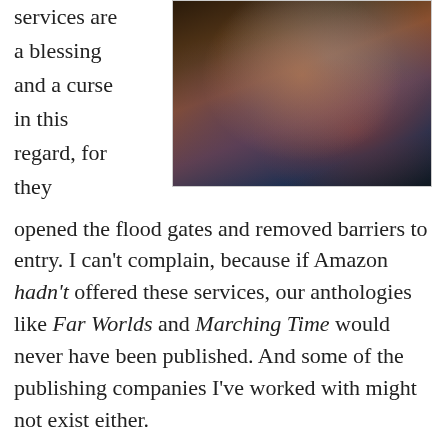services are a blessing and a curse in this regard, for they
[Figure (photo): A science fiction themed image showing a face or figure with technological/futuristic overlay elements, blue and orange tones]
opened the flood gates and removed barriers to entry. I can't complain, because if Amazon hadn't offered these services, our anthologies like Far Worlds and Marching Time would never have been published. And some of the publishing companies I've worked with might not exist either.
But as Amazon has removed our inhibitions, they've also gone on to inflame our passions. Although not the only company to do so, Amazon's print-on-demand service CreateSpace is a proud contributor to National Novel